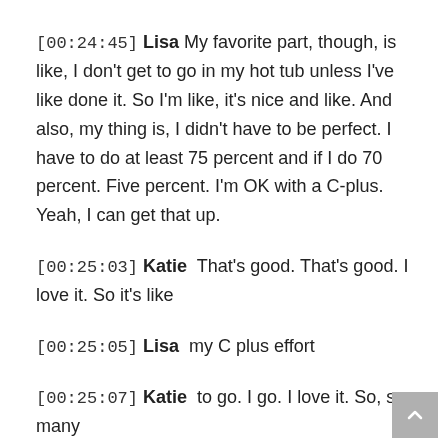[00:24:45] Lisa My favorite part, though, is like, I don't get to go in my hot tub unless I've like done it. So I'm like, it's nice and like. And also, my thing is, I didn't have to be perfect. I have to do at least 75 percent and if I do 70 percent. Five percent. I'm OK with a C-plus. Yeah, I can get that up.
[00:25:03] Katie That's good. That's good. I love it. So it's like
[00:25:05] Lisa my C plus effort
[00:25:07] Katie to go. I go. I love it. So, so many